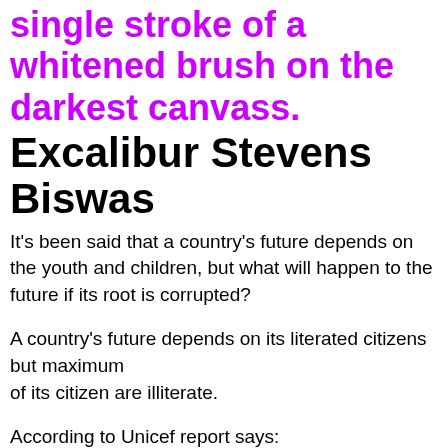single stroke of a whitened brush on the darkest canvass.
Excalibur Stevens Biswas
It's been said that a country's future depends on the youth and children, but what will happen to the future if its root is corrupted?
A country's future depends on its literated citizens but maximum of its citizen are illiterate.
According to Unicef report says:
Despite a major improvement in literacy rates during the 1990s, the number of children who are